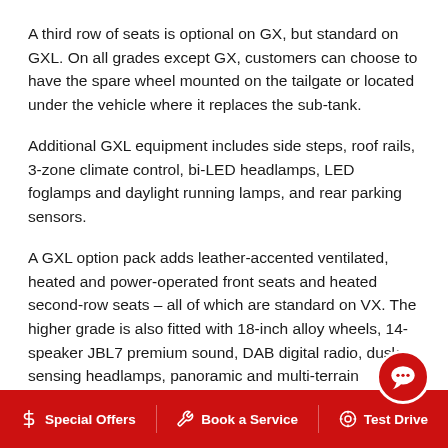A third row of seats is optional on GX, but standard on GXL. On all grades except GX, customers can choose to have the spare wheel mounted on the tailgate or located under the vehicle where it replaces the sub-tank.
Additional GXL equipment includes side steps, roof rails, 3-zone climate control, bi-LED headlamps, LED foglamps and daylight running lamps, and rear parking sensors.
A GXL option pack adds leather-accented ventilated, heated and power-operated front seats and heated second-row seats – all of which are standard on VX. The higher grade is also fitted with 18-inch alloy wheels, 14-speaker JBL7 premium sound, DAB digital radio, dusk-sensing headlamps, panoramic and multi-terrain monitors, blind-spot monitor and rear cross-traffic alert.
Top-of-the-range Kakadu is now fitted with paddle sh…
$ Special Offers   Book a Service   Test Drive